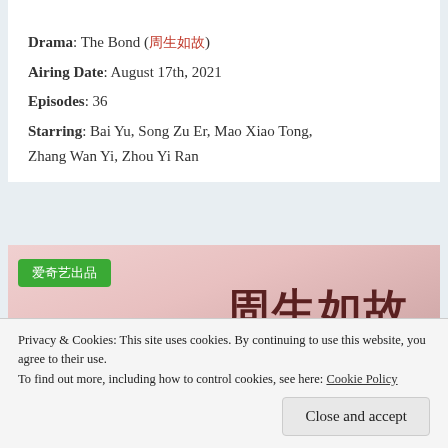Drama: The Bond (周生如故)
Airing Date: August 17th, 2021
Episodes: 36
Starring: Bai Yu, Song Zu Er, Mao Xiao Tong, Zhang Wan Yi, Zhou Yi Ran
[Figure (photo): Promotional image for The Bond drama with iQiyi badge (爱奇艺出品) and Chinese calligraphy title 周生如故 on a blurred floral background]
Privacy & Cookies: This site uses cookies. By continuing to use this website, you agree to their use.
To find out more, including how to control cookies, see here: Cookie Policy
Close and accept